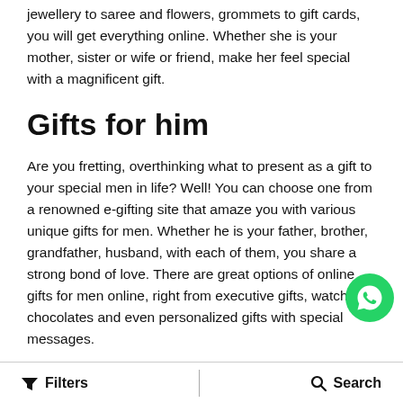jewellery to saree and flowers, grommets to gift cards, you will get everything online. Whether she is your mother, sister or wife or friend, make her feel special with a magnificent gift.
Gifts for him
Are you fretting, overthinking what to present as a gift to your special men in life? Well! You can choose one from a renowned e-gifting site that amaze you with various unique gifts for men. Whether he is your father, brother, grandfather, husband, with each of them, you share a strong bond of love. There are great options of online gifts for men online, right from executive gifts, watches, chocolates and even personalized gifts with special messages.
Buy/Send Best Birthday gifts online
Filters
Search